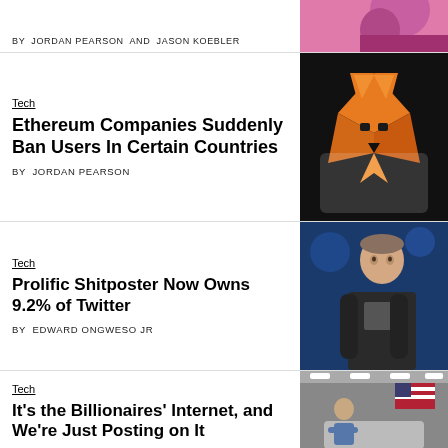[Figure (photo): Partial top row showing anime-style illustration with pink background]
Tech
Ethereum Companies Suddenly Ban Users In Certain Countries
BY JORDAN PEARSON
[Figure (photo): MetaMask fox logo on dark background, orange geometric fox face]
Tech
Prolific Shitposter Now Owns 9.2% of Twitter
BY EDWARD ONGWESO JR
[Figure (photo): Elon Musk in dark jacket against blue background]
Tech
It's the Billionaires' Internet, and We're Just Posting on It
BY EDWARD ONGWESO JR
[Figure (photo): Elon Musk in warehouse with American flag and large cylindrical object]